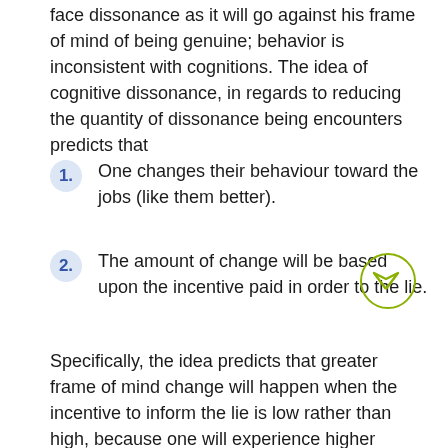face dissonance as it will go against his frame of mind of being genuine; behavior is inconsistent with cognitions. The idea of cognitive dissonance, in regards to reducing the quantity of dissonance being encounters predicts that
One changes their behaviour toward the jobs (like them better).
The amount of change will be based upon the incentive paid in order to the lie.
Specifically, the idea predicts that greater frame of mind change will happen when the incentive to inform the lie is low rather than high, because one will experience higher dissonance under low bonuses than under high bonuses.
References:
Baron, R. A. , Bhardwaj. G. , Branscombe, N. R. & Byrne, D. (2011) Friendly Psychology (12th ed). India: Darling